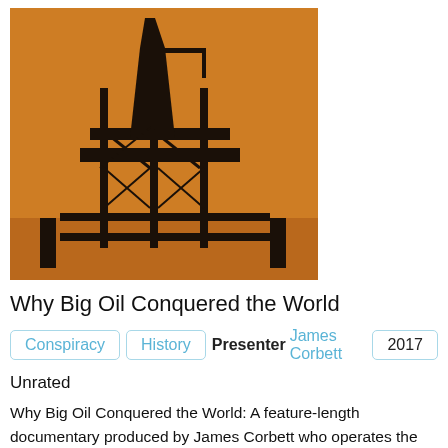[Figure (photo): Oil drilling rig silhouette against orange sunset sky]
Why Big Oil Conquered the World
Conspiracy | History | Presenter James Corbett | 2017
Unrated
Why Big Oil Conquered the World: A feature-length documentary produced by James Corbett who operates the news website corbettreport.com about the history of the oil Industry.   On August 28, 1859, George Bissell and Edwin L. Drake made the first working oil drilling platform in Pennsylvan[...]
[Figure (photo): Second documentary thumbnail showing trees and a structure, partially visible]